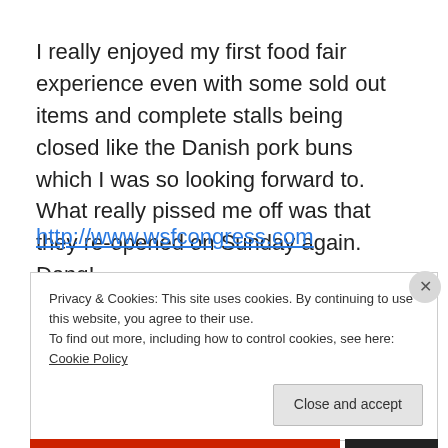I really enjoyed my first food fair experience even with some sold out items and complete stalls being closed like the Danish pork buns which I was so looking forward to. What really pissed me off was that they re-opened on Sunday again. Dang!
http://www.wsfcongress.com
Privacy & Cookies: This site uses cookies. By continuing to use this website, you agree to their use.
To find out more, including how to control cookies, see here: Cookie Policy
Close and accept